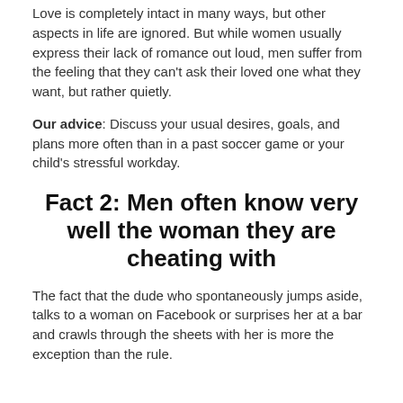Love is completely intact in many ways, but other aspects in life are ignored. But while women usually express their lack of romance out loud, men suffer from the feeling that they can't ask their loved one what they want, but rather quietly.
Our advice: Discuss your usual desires, goals, and plans more often than in a past soccer game or your child's stressful workday.
Fact 2: Men often know very well the woman they are cheating with
The fact that the dude who spontaneously jumps aside, talks to a woman on Facebook or surprises her at a bar and crawls through the sheets with her is more the exception than the rule.